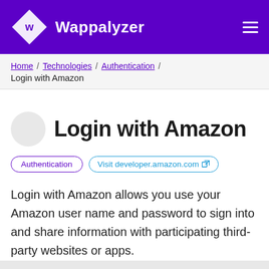Wappalyzer
Home / Technologies / Authentication / Login with Amazon
Login with Amazon
Authentication | Visit developer.amazon.com
Login with Amazon allows you use your Amazon user name and password to sign into and share information with participating third-party websites or apps.